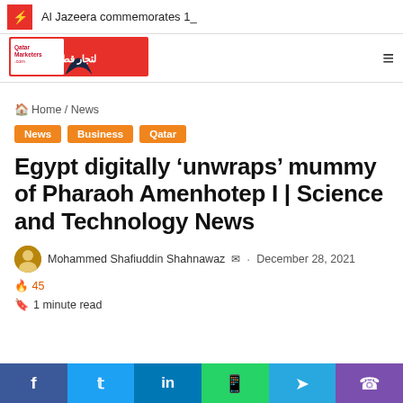Al Jazeera commemorates 1_
[Figure (logo): Qatar Marketers .com logo with Arabic text لتجار قطر and a shark fin graphic in red and dark blue]
Home / News
News
Business
Qatar
Egypt digitally 'unwraps' mummy of Pharaoh Amenhotep I | Science and Technology News
Mohammed Shafiuddin Shahnawaz  ·  December 28, 2021  🔥 45
1 minute read